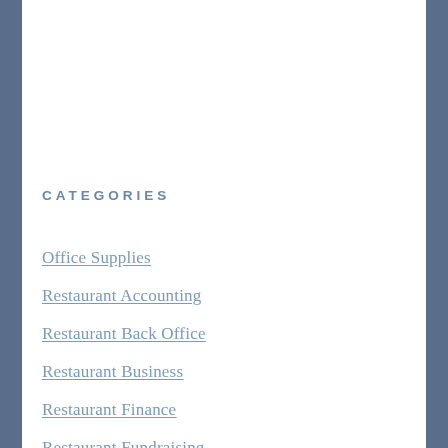CATEGORIES
Office Supplies
Restaurant Accounting
Restaurant Back Office
Restaurant Business
Restaurant Finance
Restaurant Fundraising
Restaurant Operations